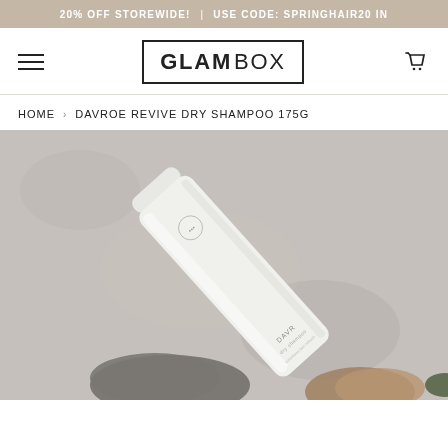20% OFF STOREWIDE! | USE CODE: SPRINGHAIR20 IN
GLAM BOX
HOME › DAVROE REVIVE DRY SHAMPOO 175G
[Figure (photo): Davroe Revive Dry Shampoo 175g product photo — a white cylindrical aerosol can lying diagonally on a grey stone/concrete surface with rocks in the background. The can has minimal branding and a small circular logo near the top.]